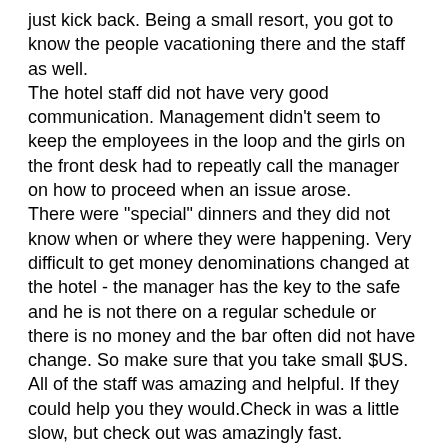just kick back. Being a small resort, you got to know the people vacationing there and the staff as well.
The hotel staff did not have very good communication. Management didn't seem to keep the employees in the loop and the girls on the front desk had to repeatly call the manager on how to proceed when an issue arose.
There were "special" dinners and they did not know when or where they were happening. Very difficult to get money denominations changed at the hotel - the manager has the key to the safe and he is not there on a regular schedule or there is no money and the bar often did not have change. So make sure that you take small $US.
All of the staff was amazing and helpful. If they could help you they would.Check in was a little slow, but check out was amazingly fast.
The excursions were good - but if you take one island tour, be prepared as the other island tour overlaps the first quite a bit.
Snorkeling at the museum was wonderful, especially for first time snorkellers. The guide was wonderful!!!